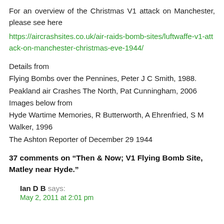For an overview of the Christmas V1 attack on Manchester, please see here
https://aircrashsites.co.uk/air-raids-bomb-sites/luftwaffe-v1-attack-on-manchester-christmas-eve-1944/
Details from
Flying Bombs over the Pennines, Peter J C Smith, 1988.
Peakland air Crashes The North, Pat Cunningham, 2006
Images below from
Hyde Wartime Memories, R Butterworth, A Ehrenfried, S M Walker, 1996
The Ashton Reporter of December 29 1944
37 comments on “Then & Now; V1 Flying Bomb Site, Matley near Hyde.”
Ian D B says:
May 2, 2011 at 2:01 pm